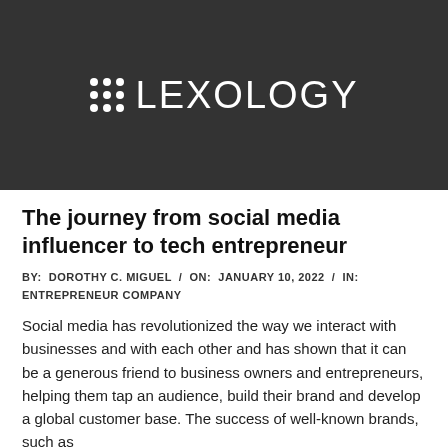[Figure (logo): Lexology logo — dark grey banner with 3x3 white dot grid icon and white 'LEXOLOGY' text in large light-weight sans-serif font]
The journey from social media influencer to tech entrepreneur
BY: DOROTHY C. MIGUEL / ON: JANUARY 10, 2022 / IN: ENTREPRENEUR COMPANY
Social media has revolutionized the way we interact with businesses and with each other and has shown that it can be a generous friend to business owners and entrepreneurs, helping them tap an audience, build their brand and develop a global customer base. The success of well-known brands, such as